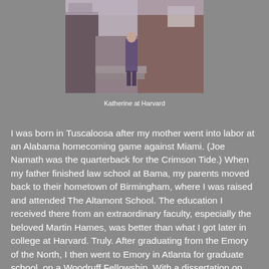[Figure (photo): A person standing in a brick-lined alley or courtyard, likely at Harvard University. The photo appears to be from several decades ago, showing a narrow passage between brick buildings.]
Katherine at Harvard
I was born in Tuscaloosa after my mother went into labor at an Alabama homecoming game against Miami. (Joe Namath was the quarterback for the Crimson Tide.) When my father finished law school at Bama, my parents moved back to their hometown of Birmingham, where I was raised and attended The Altamont School. The education I received there from an extraordinary faculty, especially the beloved Martin Hames, was better than what I got later in college at Harvard. Truly. After graduating from the Emory of the North, I then went to Emory in Atlanta for graduate school, on a Woodruff Fellowship. With a dissertation on William Faulkner, I earned a Ph.D. in American literature.